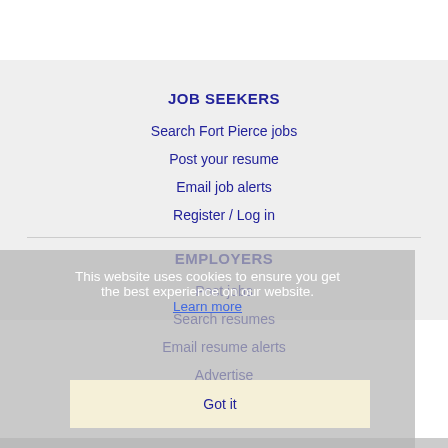JOB SEEKERS
Search Fort Pierce jobs
Post your resume
Email job alerts
Register / Log in
EMPLOYERS
Post jobs
Search resumes
Email resume alerts
Advertise
This website uses cookies to ensure you get the best experience on our website. Learn more
Got it